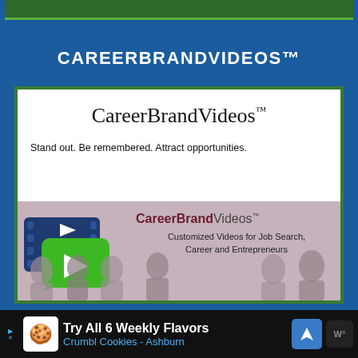[Figure (screenshot): Top dark blue bar with green strip at the top of the page, partially visible from previous section]
CAREERBRANDVIDEOS™
[Figure (logo): CareerBrandVideos logo card: white top section with serif title 'CareerBrandVideos™' and tagline 'Stand out. Be remembered. Attract opportunities.' Below is a pink/mauve section with a film-reel play-button icon in navy/green, brand name 'CareerBrandVideos™' in dark red/grey, subtitle 'Customized Videos for Job Search, Career and Entrepreneurs', and silhouetted audience figures at bottom.]
[Figure (screenshot): Advertisement bar at bottom: black background, 'Try All 6 Weekly Flavors' in white bold, 'Crumbl Cookies - Ashburn' in blue, with cookie icon and navigation arrow icon]